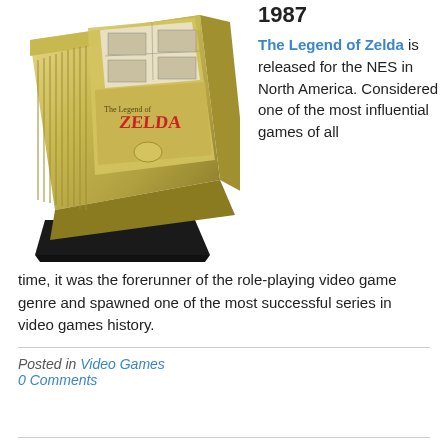1987
[Figure (photo): Gold NES cartridge of The Legend of Zelda, shown at an angle on a white background.]
The Legend of Zelda is released for the NES in North America. Considered one of the most influential games of all time, it was the forerunner of the role-playing video game genre and spawned one of the most successful series in video games history.
Posted in Video Games
0 Comments